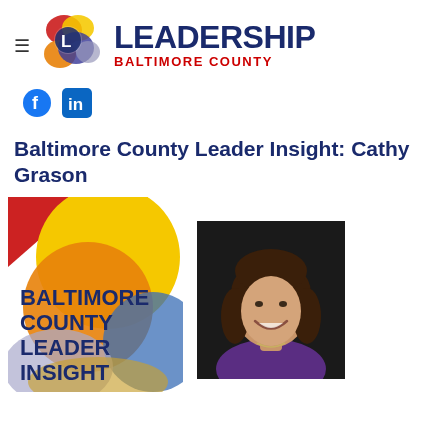[Figure (logo): Leadership Baltimore County logo with colorful overlapping circles and 'L' letter, beside bold navy LEADERSHIP and red BALTIMORE COUNTY text]
[Figure (logo): Facebook and LinkedIn social media icons]
Baltimore County Leader Insight: Cathy Grason
[Figure (illustration): Baltimore County Leader Insight graphic with colorful overlapping circles in red, yellow, orange, and blue with bold navy text]
[Figure (photo): Portrait photo of Cathy Grason, a woman with brown hair wearing a purple top, smiling, dark background]